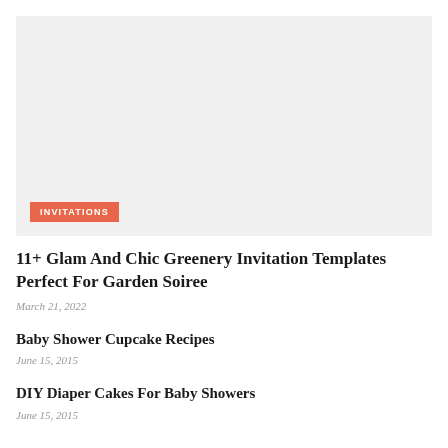[Figure (photo): Large light gray placeholder image with an orange/salmon 'INVITATIONS' badge label in the lower left corner]
11+ Glam And Chic Greenery Invitation Templates Perfect For Garden Soiree
March 21, 2022
Baby Shower Cupcake Recipes
June 15, 2015
DIY Diaper Cakes For Baby Showers
June 15, 2015